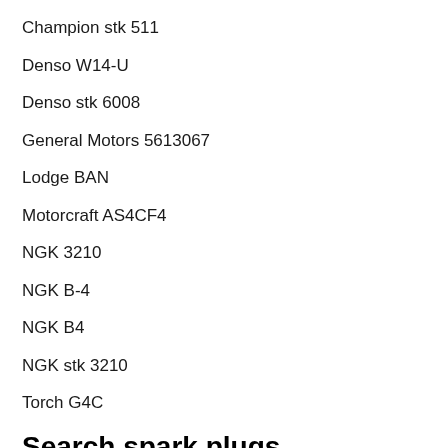Champion stk 511
Denso W14-U
Denso stk 6008
General Motors 5613067
Lodge BAN
Motorcraft AS4CF4
NGK 3210
NGK B-4
NGK B4
NGK stk 3210
Torch G4C
Search spark plugs